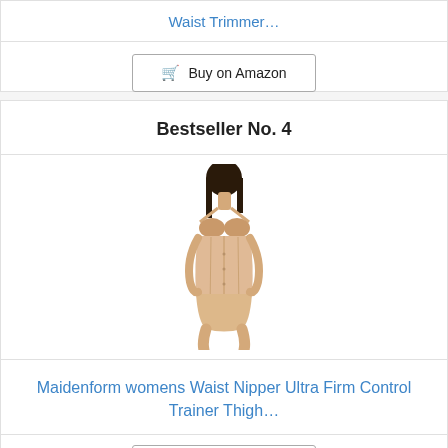Waist Trimmer…
Buy on Amazon
Bestseller No. 4
[Figure (photo): Woman wearing a beige/nude Maidenform waist nipper / shapewear corset with matching underwear bottoms, model shown from neck to mid-thigh]
Maidenform womens Waist Nipper Ultra Firm Control Trainer Thigh…
Buy on Amazon